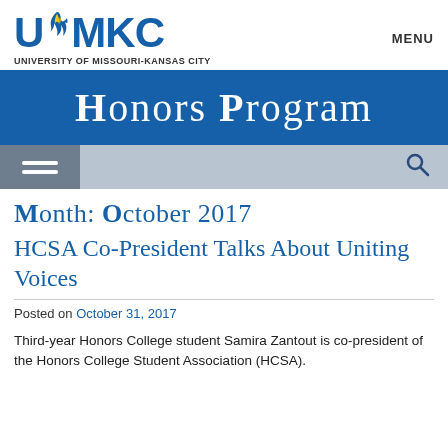[Figure (logo): UMKC University of Missouri-Kansas City logo with blue letters and yellow/blue flame]
MENU
Honors Program
Month: October 2017
HCSA Co-President Talks About Uniting Voices
Posted on October 31, 2017
Third-year Honors College student Samira Zantout is co-president of the Honors College Student Association (HCSA).